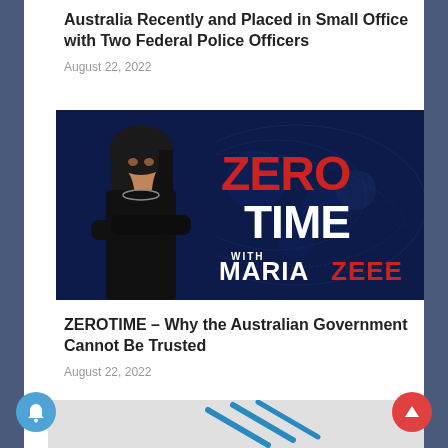Australia Recently and Placed in Small Office with Two Federal Police Officers
August 22, 2022
[Figure (photo): Promotional image for 'Zero Time with Maria Zeee' show. Shows a woman in black clothing with dark hair against a dark blue background with a world map. Text reads 'ZERO TIME with MARIA ZEEE' in red and white letters.]
ZEROTIME – Why the Australian Government Cannot Be Trusted
August 22, 2022